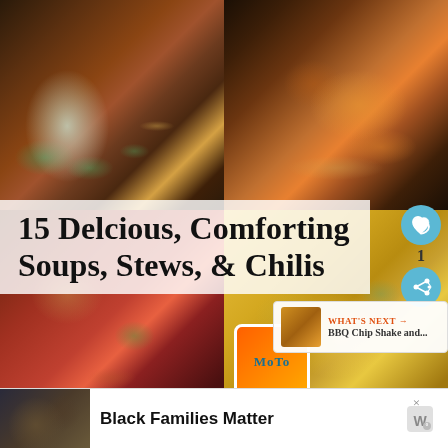[Figure (photo): 2x2 collage of soup/stew/chili photos: top-left chili bowl with jalapeños and sour cream, top-right beef stew with carrots and egg noodles, bottom-left tortilla soup with tortilla strips, bottom-right creamy cheese soup in orange cup]
15 Delcious, Comforting Soups, Stews, & Chilis
WHAT'S NEXT → BBQ Chip Shake and...
Black Families Matter